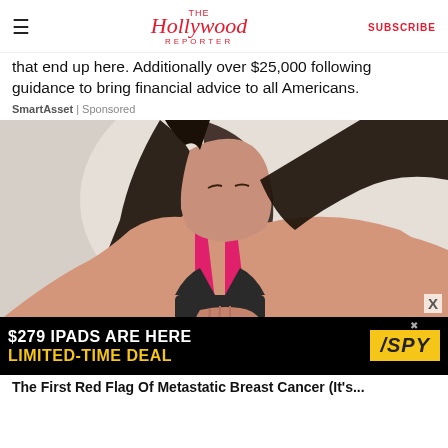The Hollywood Reporter | SUBSCRIBE
that end up here. Additionally over $25,000 following guidance to bring financial advice to all Americans.
SmartAsset | Sponsored
[Figure (photo): Young woman in black and pink sports bra holding her chest, appearing to experience chest pain or heart discomfort, against a light background.]
The First Red Flag Of Metastatic Breast Cancer (It's...
[Figure (other): Advertisement banner: $279 IPADS ARE HERE / LIMITED-TIME DEAL with SPY logo]